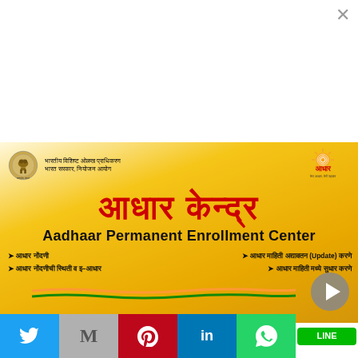[Figure (illustration): Aadhaar Permanent Enrollment Center banner. Shows Indian government emblem and ministry text (भारतीय विशिष्ट ओळख प्राधिकरण, भारत सरकार, नियोजन आयोग) on the left, Aadhaar logo on top right, large Hindi text 'आधार केन्द्र' in red, English text 'Aadhaar Permanent Enrollment Center' in bold black, and four Marathi service bullet points. Golden gradient background with tricolor line at bottom.]
भारतीय विशिष्ट ओळख प्राधिकरण
भारत सरकार, नियोजन आयोग
आधार केन्द्र
Aadhaar Permanent Enrollment Center
➤ आधार नोंदणी
➤ आधार नोंदणीची स्थिती व इ–आधार
➤ आधार माहिती अद्यावतन (Update) करणे
➤ आधार माहिती मध्ये सुधार करणे